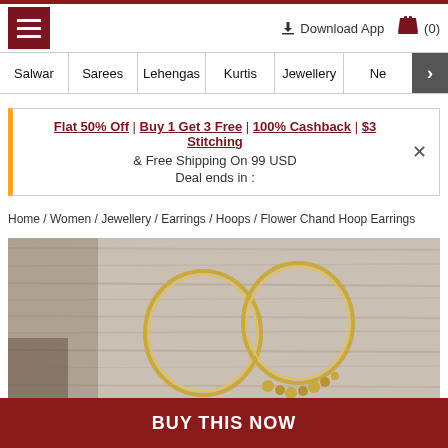☰  ↓ Download App  🛍 (0)
Salwar | Sarees | Lehengas | Kurtis | Jewellery | Ne ›
Flat 50% Off | Buy 1 Get 3 Free | 100% Cashback | $3 Stitching & Free Shipping On 99 USD  Deal ends in :  ×
Home / Women / Jewellery / Earrings / Hoops / Flower Chand Hoop Earrings
[Figure (photo): Gold hoop earrings (Flower Chand Hoop Earrings) on a wooden background]
BUY THIS NOW